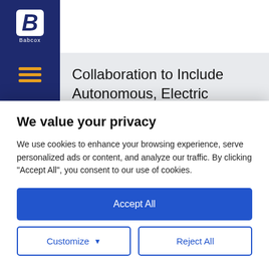BodyShop BUSINESS
Collaboration to Include Autonomous, Electric Vehicles
We value your privacy
We use cookies to enhance your browsing experience, serve personalized ads or content, and analyze our traffic. By clicking "Accept All", you consent to our use of cookies.
Accept All
Customize
Reject All